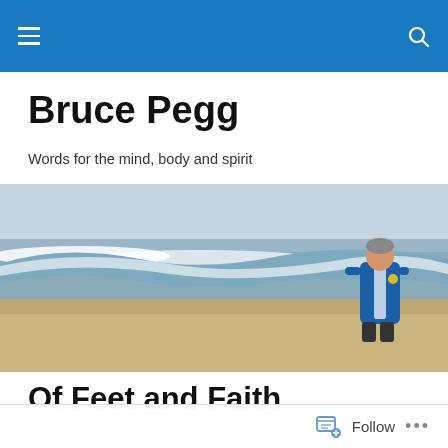Bruce Pegg — navigation bar with hamburger menu and search icon
Bruce Pegg
Words for the mind, body and spirit
[Figure (photo): A man in a blue Puma sports jacket standing on a wide sandy beach with large ocean waves crashing in the background under an overcast sky.]
Of Feet and Faith
For the last few days, I have been thinking of an appropriate way to start out the New Year on this blog. The
Follow  •••